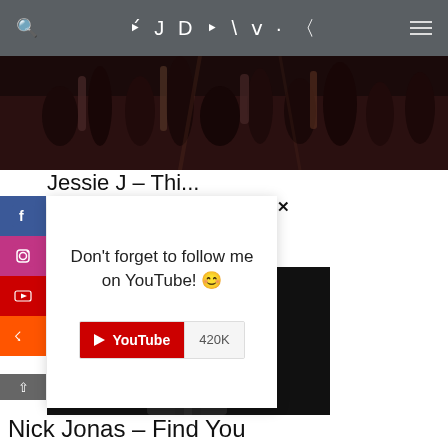DJ DARK
[Figure (photo): Dark concert crowd photo with raised hands and lights]
Jessie J – Thi...
[Figure (screenshot): Popup overlay with YouTube follow prompt showing 420K subscribers and social sidebar with Facebook, Instagram, YouTube, SoundCloud icons]
[Figure (photo): Vevo music video thumbnail in black and white showing a performer]
Nick Jonas – Find You